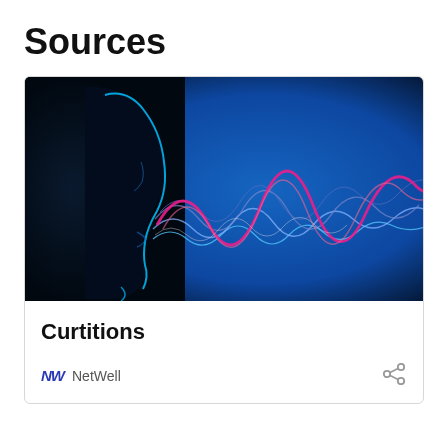Sources
[Figure (photo): Side profile illustration of a human face (dark silhouette with glowing blue outline) exhaling sound waves depicted as intertwining blue and pink/red waveforms against a deep blue background.]
Curtitions
NW NetWell